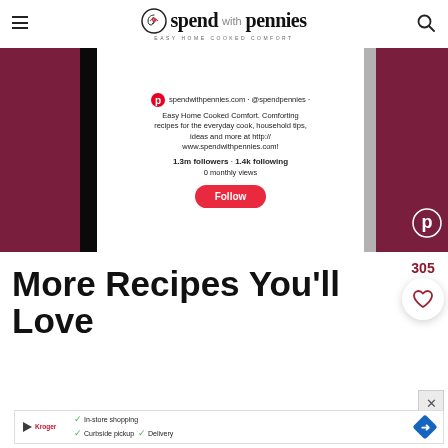spend with pennies — EASY HOME COOKED COMFORT
[Figure (screenshot): Pinterest profile widget for spendwithpennies showing profile info, 1.3m followers, 1.4k following, 0 monthly views, and a Follow button, with dark red/maroon side panels]
More Recipes You'll Love
[Figure (infographic): Favorite/save widget showing 305 saves with a heart icon button]
[Figure (screenshot): Advertisement banner: In-store shopping, Curbside pickup, Delivery]